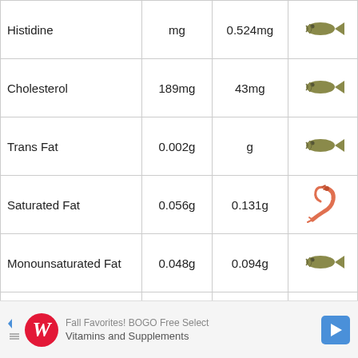| Nutrient | Value 1 | Value 2 | Icon |
| --- | --- | --- | --- |
| Histidine | mg | 0.524mg | [fish] |
| Cholesterol | 189mg | 43mg | [fish] |
| Trans Fat | 0.002g | g | [fish] |
| Saturated Fat | 0.056g | 0.131g | [shrimp] |
| Monounsaturated Fat | 0.048g | 0.094g | [fish] |
| Polyunsaturated fat | 0.079g | 0.231g | [fish] |
[Figure (other): Advertisement banner: Fall Favorites! BOGO Free Select Vitamins and Supplements, Walgreens logo, navigation arrow]